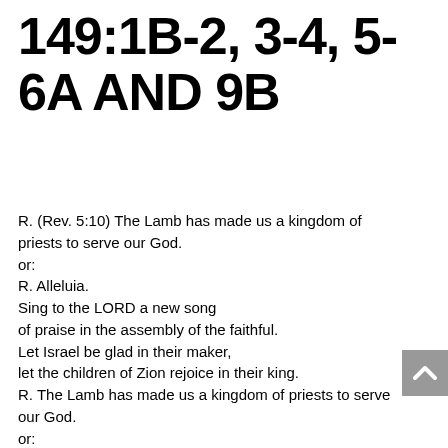149:1B-2, 3-4, 5-6A AND 9B
R. (Rev. 5:10) The Lamb has made us a kingdom of priests to serve our God.
or:
R. Alleluia.
Sing to the LORD a new song
of praise in the assembly of the faithful.
Let Israel be glad in their maker,
let the children of Zion rejoice in their king.
R. The Lamb has made us a kingdom of priests to serve our God.
or:
R. Alleluia.
Let them praise his name in the festive dance,
let them sing praise to him with timbrel and harp.
For the LORD loves his people,
and he adorns the lowly with victory.
R. The Lamb has made us a kingdom of priests to serve